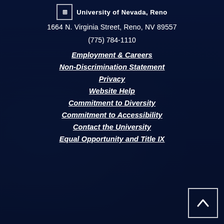University of Nevada, Reno
1664 N. Virginia Street, Reno, NV 89557
(775) 784-1110
Employment & Careers
Non-Discrimination Statement
Privacy
Website Help
Commitment to Diversity
Commitment to Accessibility
Contact the University
Equal Opportunity and Title IX